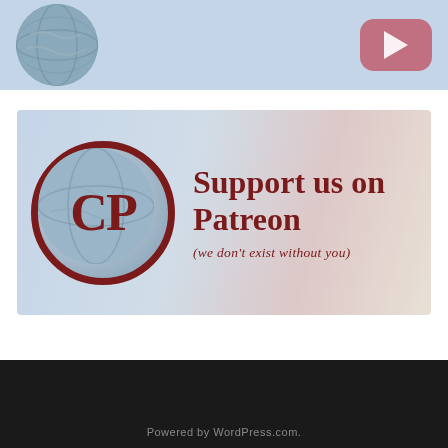[Figure (illustration): Top banner with globe circle logo on left and pink/rose YouTube play button icon on right, light blue background]
[Figure (illustration): Patreon support banner with CP globe logo circle on left and bold dark red text 'Support us on Patreon (we don't exist without you)' on right, light blue-to-pink gradient background]
Powered by WordPress.com.